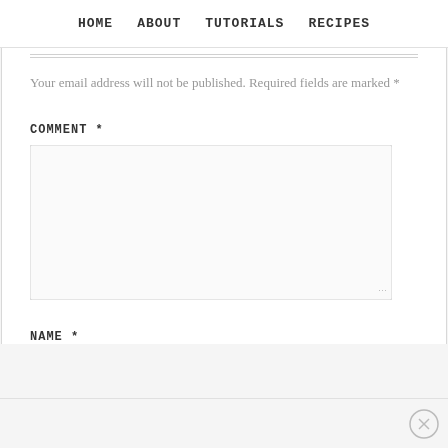HOME   ABOUT   TUTORIALS   RECIPES
Your email address will not be published. Required fields are marked *
COMMENT *
[Figure (other): Empty comment textarea input box]
NAME *